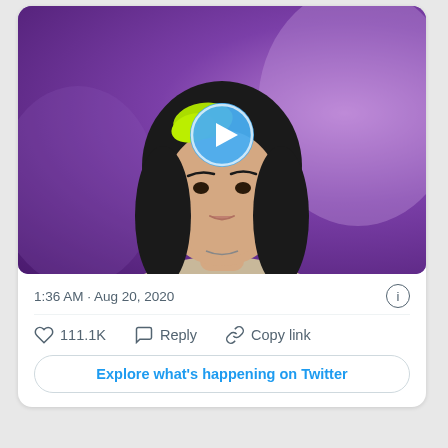[Figure (screenshot): Twitter/X tweet card showing a video thumbnail of a person with green and black hair wearing a beige sweatshirt against a purple background, with a blue play button overlay]
1:36 AM · Aug 20, 2020
111.1K   Reply   Copy link
Explore what's happening on Twitter